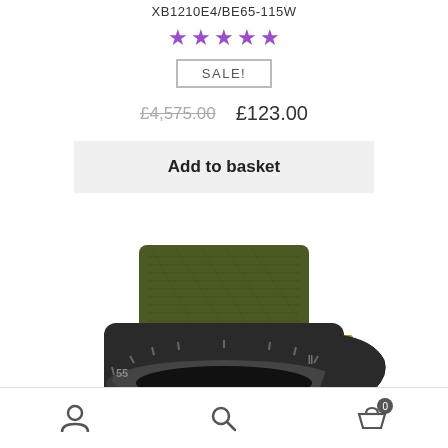XB1210E4/BE65-115W
★★★★★ (5 stars rating)
SALE!
£4,575.00  £123.00
Add to basket
[Figure (photo): Close-up photo of a watch with a dark case and olive green NATO/fabric strap, showing the bezel and upper portion of the watch face]
Navigation bar with user icon, search icon, and basket icon with badge showing 0